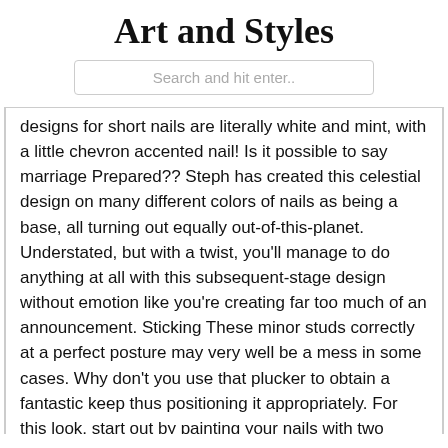Art and Styles
Search and hit enter..
designs for short nails are literally white and mint, with a little chevron accented nail! Is it possible to say marriage Prepared?? Steph has created this celestial design on many different colors of nails as being a base, all turning out equally out-of-this-planet. Understated, but with a twist, you'll manage to do anything at all with this subsequent-stage design without emotion like you're creating far too much of an announcement. Sticking These minor studs correctly at a perfect posture may very well be a mess in some cases. Why don't you use that plucker to obtain a fantastic keep thus positioning it appropriately. For this look, start out by painting your nails with two variations of pink. About the lighter pink shade, utilize a nail striper dipped in white polish to make a checkered sample. A terrific choice for spring and summer, this floral nail design is as pretty as can be! Get Inventive with this search and are available up with your own personal color plan! This polka dot nail design is to the expert nail artists, but Really don't fret – If you cannot replicate, only